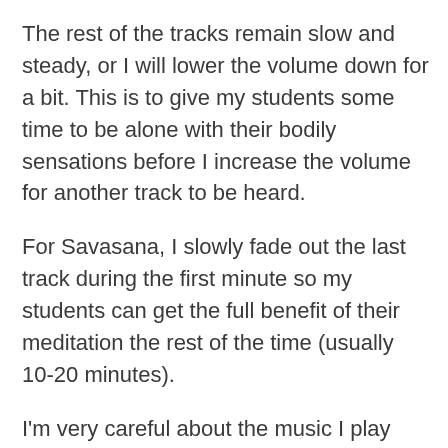The rest of the tracks remain slow and steady, or I will lower the volume down for a bit. This is to give my students some time to be alone with their bodily sensations before I increase the volume for another track to be heard.
For Savasana, I slowly fade out the last track during the first minute so my students can get the full benefit of their meditation the rest of the time (usually 10-20 minutes).
I'm very careful about the music I play and how I play it because I teach yoga to help my students unearth the layers of stress and feel more connected to themselves. I don't want